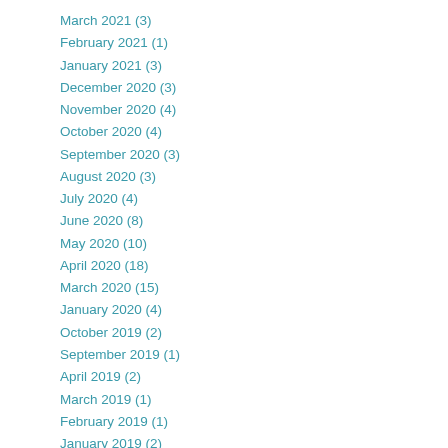March 2021 (3)
February 2021 (1)
January 2021 (3)
December 2020 (3)
November 2020 (4)
October 2020 (4)
September 2020 (3)
August 2020 (3)
July 2020 (4)
June 2020 (8)
May 2020 (10)
April 2020 (18)
March 2020 (15)
January 2020 (4)
October 2019 (2)
September 2019 (1)
April 2019 (2)
March 2019 (1)
February 2019 (1)
January 2019 (2)